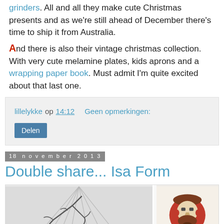grinders. All and all they make cute Christmas presents and as we're still ahead of December there's time to ship it from Australia.
And there is also their vintage christmas collection. With very cute melamine plates, kids aprons and a wrapping paper book. Must admit I'm quite excited about that last one.
lillelykke op 14:12   Geen opmerkingen:   Delen
18 november 2013
Double share... Isa Form
[Figure (photo): Two product photos side by side: left shows a white/grey interior scene with dark wire/branch decorative object on white surface; right shows a decorative pillow with an illustrated bearded face in brown and teal colors.]